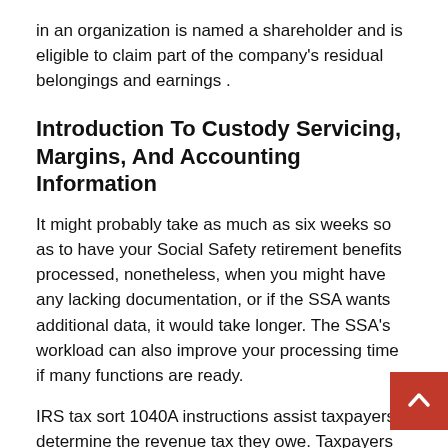in an organization is named a shareholder and is eligible to claim part of the company's residual belongings and earnings .
Introduction To Custody Servicing, Margins, And Accounting Information
It might probably take as much as six weeks so as to have your Social Safety retirement benefits processed, nonetheless, when you might have any lacking documentation, or if the SSA wants additional data, it would take longer. The SSA's workload can also improve your processing time if many functions are ready.
IRS tax sort 1040A instructions assist taxpayers determine the revenue tax they owe. Taxpayers use the 1040A with earnings lower than $100,000,